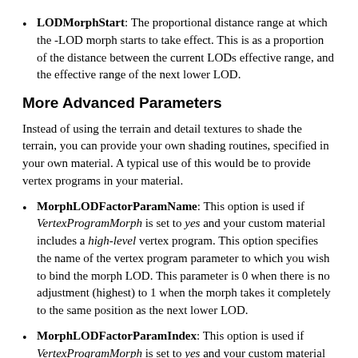LODMorphStart: The proportional distance range at which the -LOD morph starts to take effect. This is as a proportion of the distance between the current LODs effective range, and the effective range of the next lower LOD.
More Advanced Parameters
Instead of using the terrain and detail textures to shade the terrain, you can provide your own shading routines, specified in your own material. A typical use of this would be to provide vertex programs in your material.
MorphLODFactorParamName: This option is used if VertexProgramMorph is set to yes and your custom material includes a high-level vertex program. This option specifies the name of the vertex program parameter to which you wish to bind the morph LOD. This parameter is 0 when there is no adjustment (highest) to 1 when the morph takes it completely to the same position as the next lower LOD.
MorphLODFactorParamIndex: This option is used if VertexProgramMorph is set to yes and your custom material includes an assemler-level vertex program. This option represents the index of the vertex program parameter to which you wish to bind the morph -LOD factor. This is 0